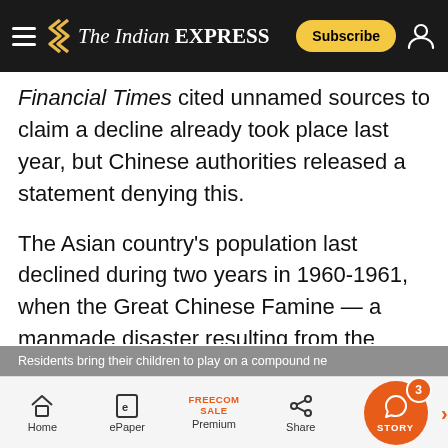The Indian Express
Financial Times cited unnamed sources to claim a decline already took place last year, but Chinese authorities released a statement denying this.
The Asian country's population last declined during two years in 1960-1961, when the Great Chinese Famine — a manmade disaster resulting from the policies of then-dictator Mao Zedong — caused the number of people to fall by 1 crore people in 1960 and another 3.4 crore in 1961, as per official figures.
Residents bring their children to play on a compound ne...
Home | ePaper | Premium | Share | STORY